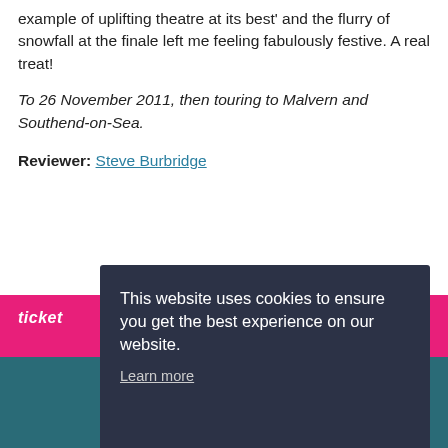example of uplifting theatre at its best' and the flurry of snowfall at the finale left me feeling fabulously festive. A real treat!
To 26 November 2011, then touring to Malvern and Southend-on-Sea.
Reviewer: Steve Burbridge
[Figure (screenshot): Pink bar with ticket logo text on the left side]
This website uses cookies to ensure you get the best experience on our website. Learn more
Got it!